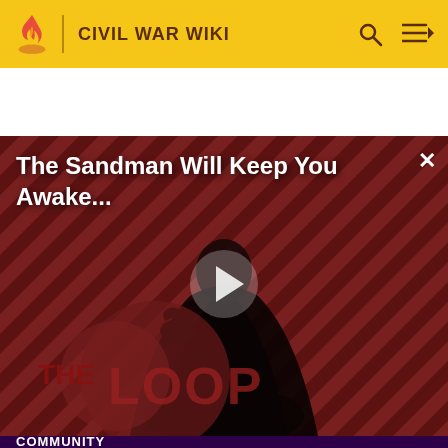CIVIL WAR WIKI
[Figure (screenshot): Video thumbnail for 'The Sandman Will Keep You Awake - The Loop' showing a dark-cloaked figure with a raven against a red and black diagonal striped background with 'THE LOOP' branding overlay and a white play button in the center]
The Sandman Will Keep You Awake...
The Sandman Will Keep You Awake - The Loop
01:40
Contact
COMMUNITY